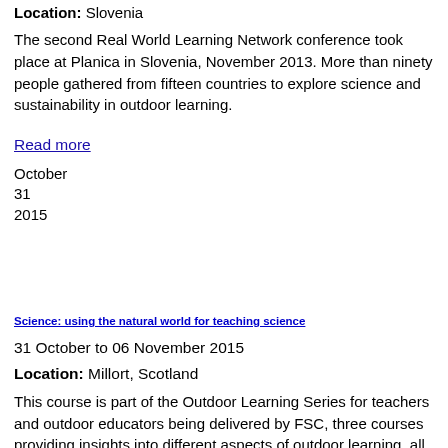Location: Slovenia
The second Real World Learning Network conference took place at Planica in Slovenia, November 2013. More than ninety people gathered from fifteen countries to explore science and sustainability in outdoor learning.
Read more
October
31
2015
Science: using the natural world for teaching science
31 October to 06 November 2015
Location: Millort, Scotland
This course is part of the Outdoor Learning Series for teachers and outdoor educators being delivered by FSC, three courses providing insights into different aspects of outdoor learning, all taking place